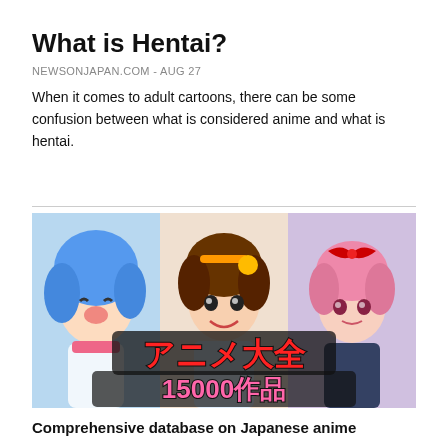What is Hentai?
NEWSONJAPAN.COM - AUG 27
When it comes to adult cartoons, there can be some confusion between what is considered anime and what is hentai.
[Figure (illustration): Anime-style illustration banner featuring three cartoon characters with Japanese text reading アニメ大全 15000作品 (Anime Taizen 15000 works)]
Comprehensive database on Japanese anime